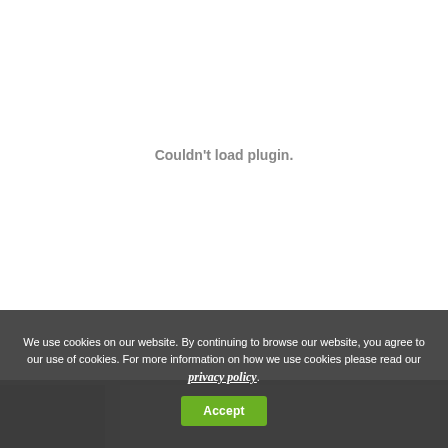Couldn't load plugin.
We use cookies on our website. By continuing to browse our website, you agree to our use of cookies. For more information on how we use cookies please read our privacy policy.
Accept
[Figure (photo): Partially visible background image behind the cookie consent banner, showing a dark outdoor or industrial scene.]